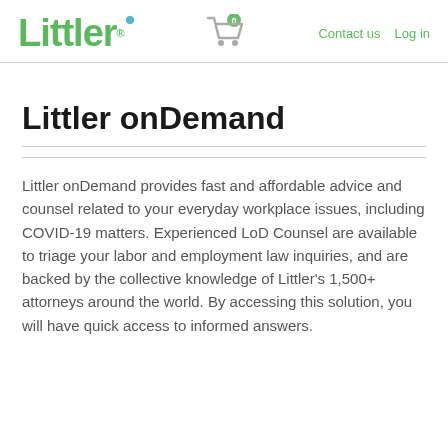Littler® | Cart (0) | Contact us | Log in
Littler onDemand
Littler onDemand provides fast and affordable advice and counsel related to your everyday workplace issues, including COVID-19 matters. Experienced LoD Counsel are available to triage your labor and employment law inquiries, and are backed by the collective knowledge of Littler's 1,500+ attorneys around the world. By accessing this solution, you will have quick access to informed answers.